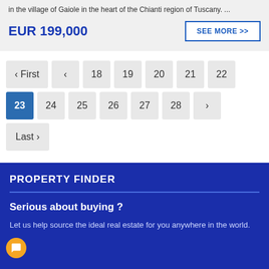in the village of Gaiole in the heart of the Chianti region of Tuscany. ...
EUR 199,000
SEE MORE >>
‹ First  ‹  18  19  20  21  22  23  24  25  26  27  28  ›  Last ›
PROPERTY FINDER
Serious about buying ?
Let us help source the ideal real estate for you anywhere in the world.